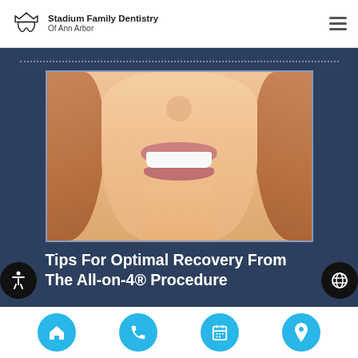Stadium Family Dentistry Of Ann Arbor
[Figure (photo): Close-up photo of a woman smiling showing white teeth, with red/auburn hair against a peach background, from the nose to upper chest]
Tips For Optimal Recovery From The All-on-4® Procedure
[Figure (infographic): Bottom navigation bar with four cyan circular icon buttons: home, phone, calendar, location pin]